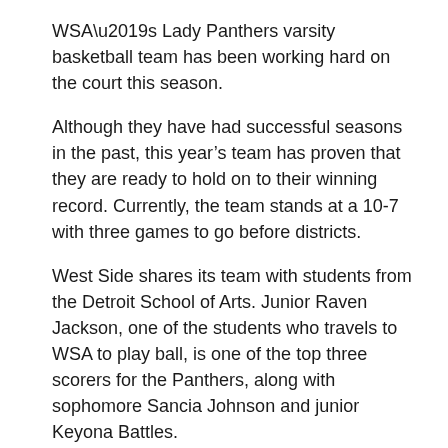WSA’s Lady Panthers varsity basketball team has been working hard on the court this season.
Although they have had successful seasons in the past, this year’s team has proven that they are ready to hold on to their winning record. Currently, the team stands at a 10-7 with three games to go before districts.
West Side shares its team with students from the Detroit School of Arts. Junior Raven Jackson, one of the students who travels to WSA to play ball, is one of the top three scorers for the Panthers, along with sophomore Sancia Johnson and junior Keyona Battles.
Johnson feels that the team has been a second family for her.